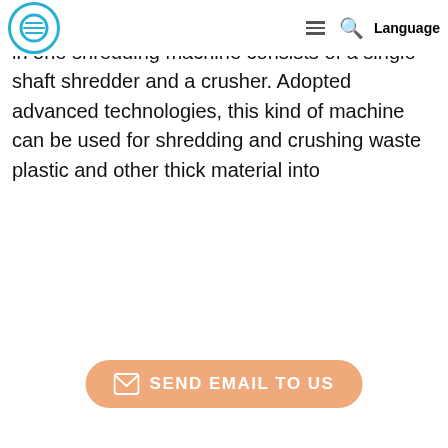Machine1. Introduction and Application — navigation bar with logo, hamburger menu, search icon, Language
Machine1. Introduction and ApplicationThis two in one shredding machine consists of a single shaft shredder and a crusher. Adopted advanced technologies, this kind of machine can be used for shredding and crushing waste plastic and other thick material into
[Figure (other): Orange rounded button with envelope icon and text SEND EMAIL TO US]
FEATURED PRODUCTS
Plastic Shredder with Crusher/Pla...